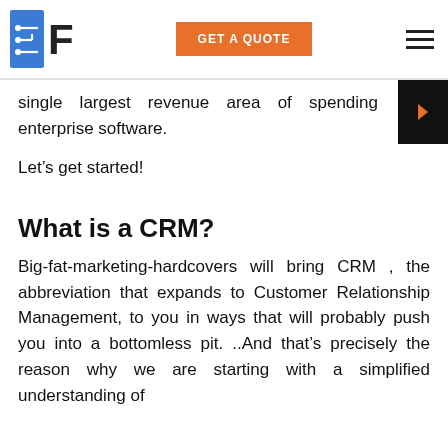BF | GET A QUOTE | menu
single largest revenue area of spending enterprise software.
Let’s get started!
What is a CRM?
Big-fat-marketing-hardcovers will bring CRM , the abbreviation that expands to Customer Relationship Management, to you in ways that will probably push you into a bottomless pit. ..And that’s precisely the reason why we are starting with a simplified understanding of